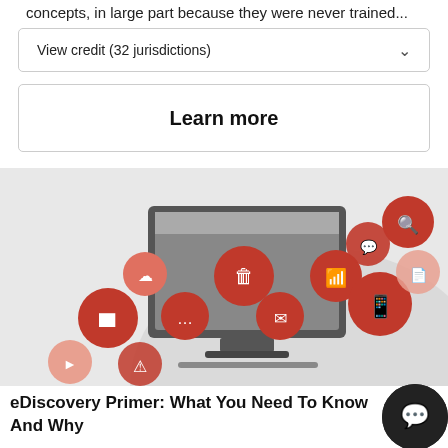concepts, in large part because they were never trained...
View credit (32 jurisdictions)
Learn more
[Figure (illustration): Illustration of a computer monitor with various eDiscovery-related icons (cloud, trash, wifi, mail, mobile phone, search, document, chat bubbles, video, warning) emanating from it on a light gray background.]
eDiscovery Primer: What You Need To Know And Why
4.8 (49 reviews)